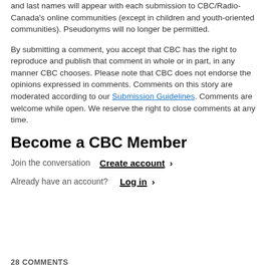and last names will appear with each submission to CBC/Radio-Canada's online communities (except in children and youth-oriented communities). Pseudonyms will no longer be permitted.
By submitting a comment, you accept that CBC has the right to reproduce and publish that comment in whole or in part, in any manner CBC chooses. Please note that CBC does not endorse the opinions expressed in comments. Comments on this story are moderated according to our Submission Guidelines. Comments are welcome while open. We reserve the right to close comments at any time.
Become a CBC Member
Join the conversation  Create account ›
Already have an account?  Log in ›
28 COMMENTS